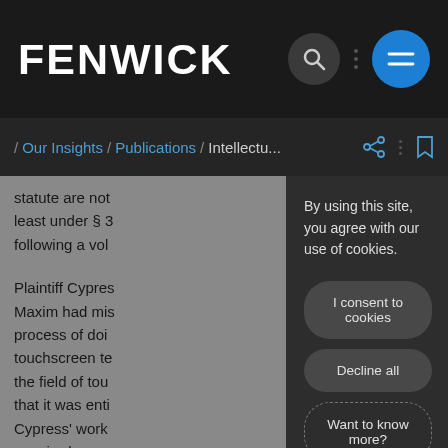FENWICK
/ Our Insights / Publications / Intellectu...
statute are not least under § 3 following a vol
Plaintiff Cypres Maxim had mis process of doi touchscreen te the field of tou that it was enti Cypress' work acquired, or s tried and failed to secure temporary injunctive relief, and
By using this site, you agree with our use of cookies.
I consent to cookies
Decline all
Want to know more?
Privacy policy